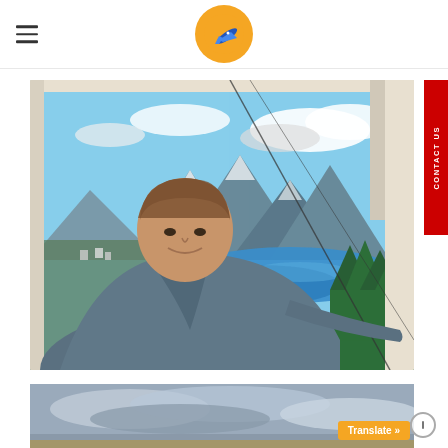[Figure (logo): Travel website logo: orange circle with airplane icon]
[Figure (photo): Man smiling inside a cable car gondola with scenic view of Queenstown, New Zealand in background — lake, mountains, and green forests visible through window]
[Figure (photo): Partial view of a second photo showing cloudy sky and orange/yellow landscape at bottom]
CONTACT US
Translate »